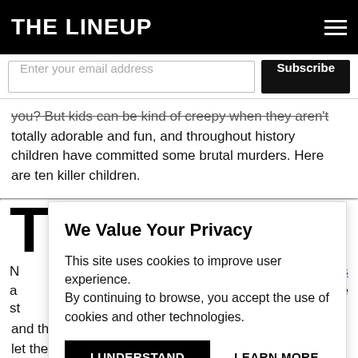THE LINEUP
Enter your email address
Subscribe
you? But kids can be kind of creepy when they aren't totally adorable and fun, and throughout history children have committed some brutal murders. Here are ten killer children.
We Value Your Privacy
This site uses cookies to improve user experience. By continuing to browse, you accept the use of cookies and other technologies.
I UNDERSTAND
LEARN MORE
and they try to get into your house or car – but do not let them under any means or they'll do terrible things.